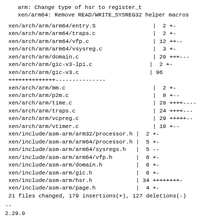arm: Change type of hsr to register_t
  xen/arm64: Remove READ/WRITE_SYSREG32 helper macros
xen/arch/arm/arm64/entry.S                 |  2 +-
 xen/arch/arm/arm64/traps.c                 |  2 +-
 xen/arch/arm/arm64/vfp.c                   | 12 ++--
 xen/arch/arm/arm64/vsysreg.c               |  3 +-
 xen/arch/arm/domain.c                      | 20 +++---
 xen/arch/arm/gic-v3-lpi.c                 |  2 +-
 xen/arch/arm/gic-v3.c                     | 96
++++++++++++++---------------
 xen/arch/arm/mm.c                          |  2 +-
 xen/arch/arm/p2m.c                         |  8 +--
 xen/arch/arm/time.c                        | 28 ++++----
 xen/arch/arm/traps.c                       | 24 ++++---
 xen/arch/arm/vcpreg.c                      | 29 +++++--
 xen/arch/arm/vtimer.c                      | 10 +--
 xen/include/asm-arm/arm32/processor.h |  2 +-
 xen/include/asm-arm/arm64/processor.h |  5 +-
 xen/include/asm-arm/arm64/sysregs.h   |  5 --
 xen/include/asm-arm/arm64/vfp.h       |  6 +-
 xen/include/asm-arm/domain.h          |  6 +-
 xen/include/asm-arm/gic.h             |  6 +-
 xen/include/asm-arm/hsr.h             | 34 ++++++++-
 xen/include/asm-arm/page.h            |  4 +-
 21 files changed, 179 insertions(+), 127 deletions(-)
--
2.29.0